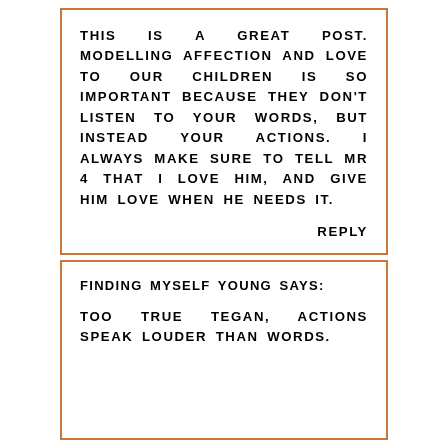THIS IS A GREAT POST. MODELLING AFFECTION AND LOVE TO OUR CHILDREN IS SO IMPORTANT BECAUSE THEY DON'T LISTEN TO YOUR WORDS, BUT INSTEAD YOUR ACTIONS. I ALWAYS MAKE SURE TO TELL MR 4 THAT I LOVE HIM, AND GIVE HIM LOVE WHEN HE NEEDS IT.
REPLY
FINDING MYSELF YOUNG SAYS:
TOO TRUE TEGAN, ACTIONS SPEAK LOUDER THAN WORDS.